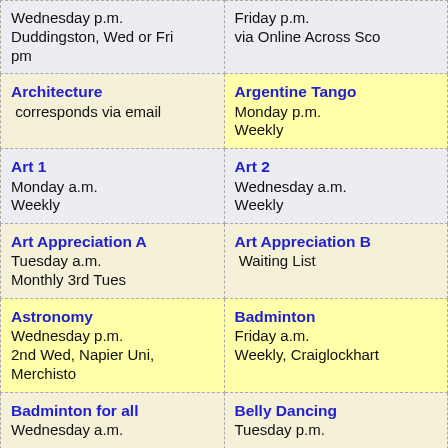| Wednesday p.m.
Duddingston, Wed or Fri pm | Friday p.m.
via Online Across Sco... |
| Architecture
corresponds via email | Argentine Tango
Monday p.m.
Weekly |
| Art 1
Monday a.m.
Weekly | Art 2
Wednesday a.m.
Weekly |
| Art Appreciation A
Tuesday a.m.
Monthly 3rd Tues | Art Appreciation B
Waiting List |
| Astronomy
Wednesday p.m.
2nd Wed, Napier Uni, Merchisto | Badminton
Friday a.m.
Weekly, Craiglockhart |
| Badminton for all
Wednesday a.m. | Belly Dancing
Tuesday p.m. |